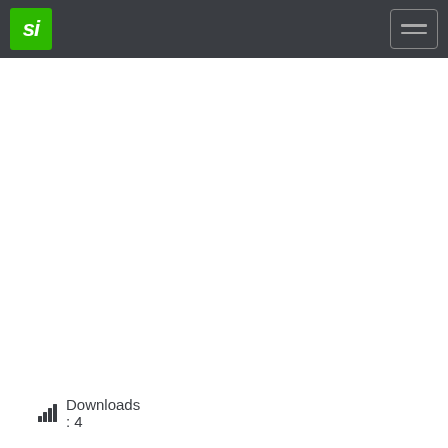si | Downloads : 4
Downloads : 4